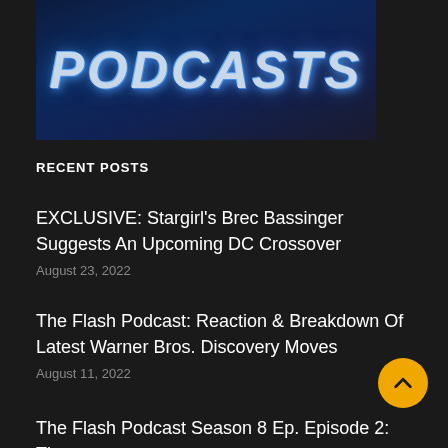[Figure (photo): Dark blue background image with stylized italic bold text reading PODCASTS in light silver-blue with glowing blue text shadow effects]
RECENT POSTS
EXCLUSIVE: Stargirl’s Brec Bassinger Suggests An Upcoming DC Crossover
August 23, 2022
The Flash Podcast: Reaction & Breakdown Of Latest Warner Bros. Discovery Moves
August 11, 2022
The Flash Podcast Season 8 Ep. Episode 2: Th...